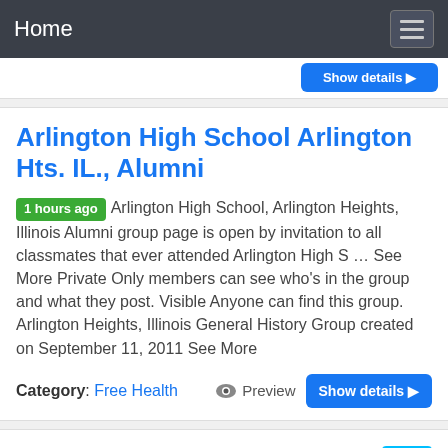Home
Arlington High School Arlington Hts. IL., Alumni
1 hours ago  Arlington High School, Arlington Heights, Illinois Alumni group page is open by invitation to all classmates that ever attended Arlington High S … See More Private Only members can see who's in the group and what they post. Visible Anyone can find this group. Arlington Heights, Illinois General History Group created on September 11, 2011 See More
Category: Free Health   Preview   Show details ▶
Reunions — District 214 Education Foundation